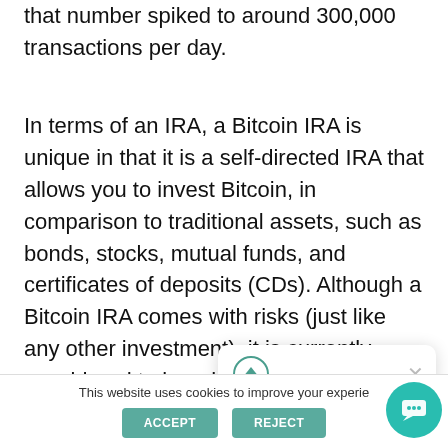that number spiked to around 300,000 transactions per day.
In terms of an IRA, a Bitcoin IRA is unique in that it is a self-directed IRA that allows you to invest Bitcoin, in comparison to traditional assets, such as bonds, stocks, mutual funds, and certificates of deposits (CDs). Although a Bitcoin IRA comes with risks (just like any other investment), it is currently considered to be a high-growth potential investment that will allow you to diversify your portfolio.
Ready to get in touch?
This website uses cookies to improve your experie